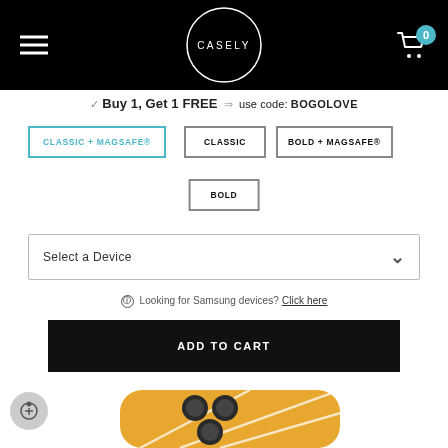[Figure (logo): Casely brand logo: white circle with CASELY text inside, on black header background]
✓ Buy 1, Get 1 FREE ⇒ use code: BOGOLOVE
CLASSIC + MAGSAFE®
CLASSIC
BOLD + MAGSAFE®
BOLD
Select a Device
Looking for Samsung devices? Click here
ADD TO CART
[Figure (photo): Orange/yellow phone case with white line pattern on iPhone 13 Pro, partially visible at bottom of page]